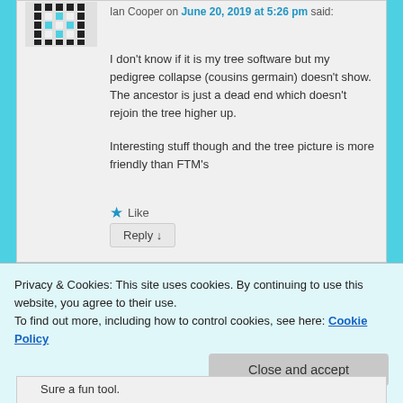[Figure (illustration): Pixel art avatar / profile image with black and white geometric pattern]
Ian Cooper on June 20, 2019 at 5:26 pm said:
I don't know if it is my tree software but my pedigree collapse (cousins germain) doesn't show. The ancestor is just a dead end which doesn't rejoin the tree higher up.

Interesting stuff though and the tree picture is more friendly than FTM's
★ Like
Reply ↓
Privacy & Cookies: This site uses cookies. By continuing to use this website, you agree to their use.
To find out more, including how to control cookies, see here: Cookie Policy
Close and accept
Sure a fun tool.